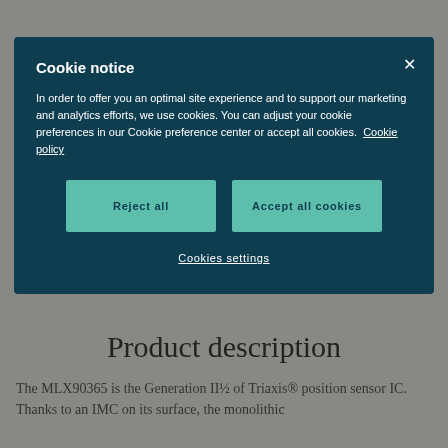Cookie notice
In order to offer you an optimal site experience and to support our marketing and analytics efforts, we use cookies. You can adjust your cookie preferences in our Cookie preference center or accept all cookies. Cookie policy
Reject all
Accept all cookies
Cookies settings
Product description
The MLX90365 is the Generation II½ of Triaxis® position sensor IC. Thanks to an IMC on its surface, the monolithic